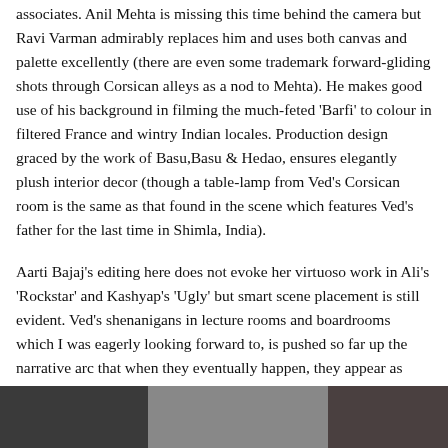associates. Anil Mehta is missing this time behind the camera but Ravi Varman admirably replaces him and uses both canvas and palette excellently (there are even some trademark forward-gliding shots through Corsican alleys as a nod to Mehta). He makes good use of his background in filming the much-feted 'Barfi' to colour in filtered France and wintry Indian locales. Production design graced by the work of Basu,Basu & Hedao, ensures elegantly plush interior decor (though a table-lamp from Ved's Corsican room is the same as that found in the scene which features Ved's father for the last time in Shimla, India).
Aarti Bajaj's editing here does not evoke her virtuoso work in Ali's 'Rockstar' and Kashyap's 'Ugly' but smart scene placement is still evident. Ved's shenanigans in lecture rooms and boardrooms which I was eagerly looking forward to, is pushed so far up the narrative arc that when they eventually happen, they appear as surreal fantasized versions rather than events that really transpired.
[Figure (photo): A horizontal strip of three photographs at the bottom of the page, partially visible. Left: dark/shadowy image. Middle: lighter grey-toned image. Right: dark image with a vertical light strip.]